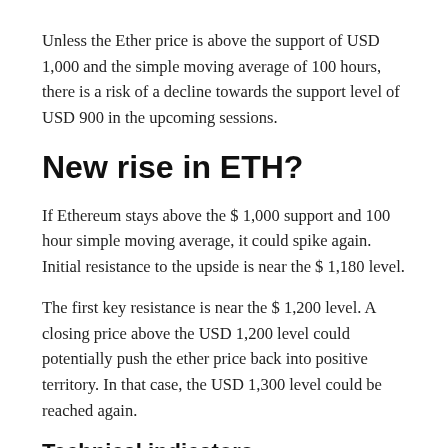Unless the Ether price is above the support of USD 1,000 and the simple moving average of 100 hours, there is a risk of a decline towards the support level of USD 900 in the upcoming sessions.
New rise in ETH?
If Ethereum stays above the $ 1,000 support and 100 hour simple moving average, it could spike again. Initial resistance to the upside is near the $ 1,180 level.
The first key resistance is near the $ 1,200 level. A closing price above the USD 1,200 level could potentially push the ether price back into positive territory. In that case, the USD 1,300 level could be reached again.
Technical indicators